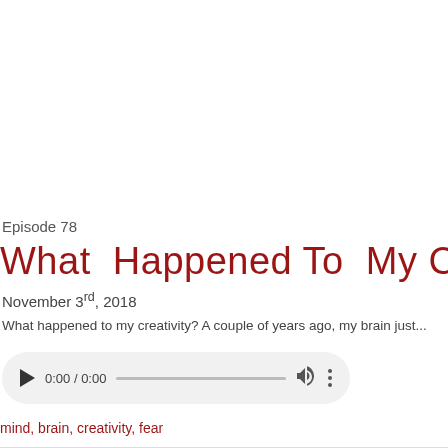Episode 78
What Happened To My Creativity
November 3rd, 2018
What happened to my creativity? A couple of years ago, my brain just...
[Figure (other): Audio player widget showing 0:00 / 0:00 with play button, progress bar, volume icon, and more options icon]
mind, brain, creativity, fear